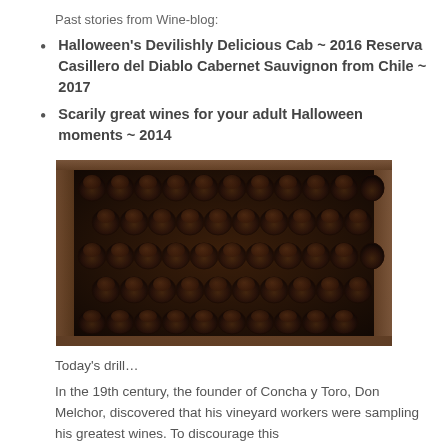Past stories from Wine-blog:
Halloween's Devilishly Delicious Cab ~ 2016 Reserva Casillero del Diablo Cabernet Sauvignon from Chile ~ 2017
Scarily great wines for your adult Halloween moments ~ 2014
[Figure (photo): Rows of wine bottles stored horizontally in a wooden wine rack, viewed from the front showing bottle bottoms, dark moody lighting]
Today's drill…
In the 19th century, the founder of Concha y Toro, Don Melchor, discovered that his vineyard workers were sampling his greatest wines. To discourage this